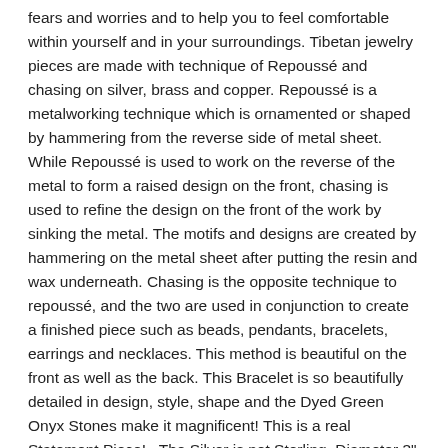fears and worries and to help you to feel comfortable within yourself and in your surroundings. Tibetan jewelry pieces are made with technique of Repoussé and chasing on silver, brass and copper. Repoussé is a metalworking technique which is ornamented or shaped by hammering from the reverse side of metal sheet. While Repoussé is used to work on the reverse of the metal to form a raised design on the front, chasing is used to refine the design on the front of the work by sinking the metal. The motifs and designs are created by hammering on the metal sheet after putting the resin and wax underneath. Chasing is the opposite technique to repoussé, and the two are used in conjunction to create a finished piece such as beads, pendants, bracelets, earrings and necklaces. This method is beautiful on the front as well as the back. This Bracelet is so beautifully detailed in design, style, shape and the Dyed Green Onyx Stones make it magnificent! This is a real Statement Piece! . The Silver is not Sterling. Diameter 3" Width 2 1/2" Size 8 1/2 AT BACARA WE STAND BEHIND ALL OF OUR MERCHANDISE. WE CAN PROVIDE REFERENCES FOR ALL ARTIFACTS THAT WE SELL, AS WELL AS DOCUMENTATION TOWARD THEIR AUTHENTICITY. YOUR SATISFACTION IS OUR MAIN GOAL, AND WE